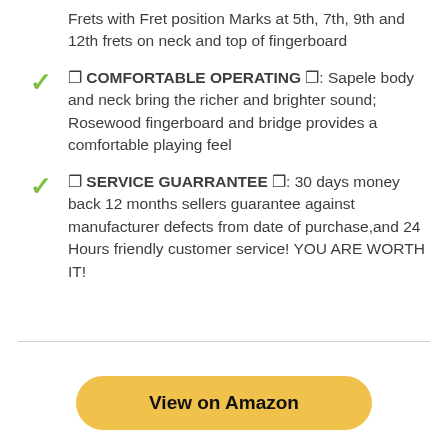Frets with Fret position Marks at 5th, 7th, 9th and 12th frets on neck and top of fingerboard
🔷 COMFORTABLE OPERATING 🔷: Sapele body and neck bring the richer and brighter sound; Rosewood fingerboard and bridge provides a comfortable playing feel
🔷 SERVICE GUARRANTEE 🔷: 30 days money back 12 months sellers guarantee against manufacturer defects from date of purchase,and 24 Hours friendly customer service! YOU ARE WORTH IT!
View on Amazon